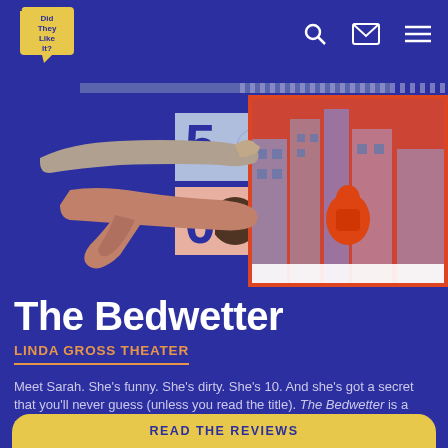Did They Like It? — navigation header with search, mail, and menu icons
[Figure (illustration): Collage illustration: a hand/arm pointing right with score '5' on a light blue panel with swirl patterns, a thumbs-down hand with score '0' on a pink panel with polka dots, and a duotone illustration of a figure viewed from behind in front of buildings framed in a red-orange border]
The Bedwetter
LINDA GROSS THEATER
Meet Sarah. She's funny. She's dirty. She's 10. And she's got a secret that you'll never guess (unless you read the title). The Bedwetter is a new musical based on the bestselling memoir by Sarah Silverman, written with Joshua Harmon (Bad Jews), and featuring a score by Adam Schlesinger (Fountains of Wayne).
READ THE REVIEWS